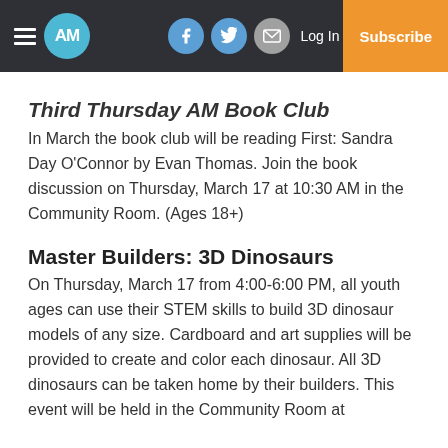AM | Log In | Subscribe
Third Thursday AM Book Club
In March the book club will be reading First: Sandra Day O’Connor by Evan Thomas. Join the book discussion on Thursday, March 17 at 10:30 AM in the Community Room. (Ages 18+)
Master Builders: 3D Dinosaurs
On Thursday, March 17 from 4:00-6:00 PM, all youth ages can use their STEM skills to build 3D dinosaur models of any size. Cardboard and art supplies will be provided to create and color each dinosaur. All 3D dinosaurs can be taken home by their builders. This event will be held in the Community Room at